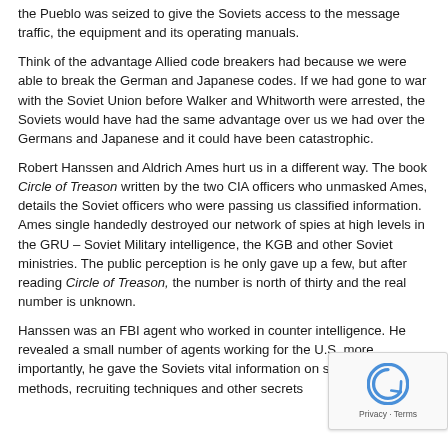the Pueblo was seized to give the Soviets access to the message traffic, the equipment and its operating manuals.
Think of the advantage Allied code breakers had because we were able to break the German and Japanese codes. If we had gone to war with the Soviet Union before Walker and Whitworth were arrested, the Soviets would have had the same advantage over us we had over the Germans and Japanese and it could have been catastrophic.
Robert Hanssen and Aldrich Ames hurt us in a different way. The book Circle of Treason written by the two CIA officers who unmasked Ames, details the Soviet officers who were passing us classified information. Ames single handedly destroyed our network of spies at high levels in the GRU – Soviet Military intelligence, the KGB and other Soviet ministries. The public perception is he only gave up a few, but after reading Circle of Treason, the number is north of thirty and the real number is unknown.
Hanssen was an FBI agent who worked in counter intelligence. He revealed a small number of agents working for the U.S. more importantly, he gave the Soviets vital information on surveillance methods, recruiting techniques and other secrets